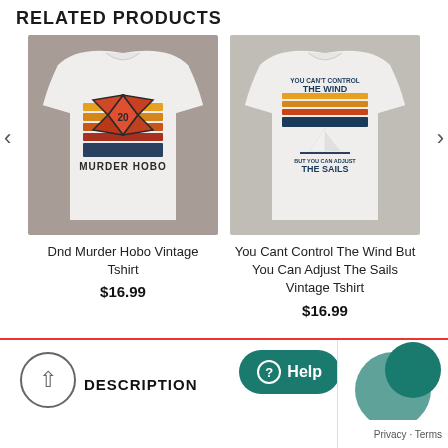RELATED PRODUCTS
[Figure (photo): Man wearing white t-shirt with DnD Murder Hobo vintage design showing a D20 die with retro sunset stripes]
Dnd Murder Hobo Vintage Tshirt
$16.99
[Figure (photo): Man wearing white t-shirt with text 'You Can't Control The Wind But You Can Adjust The Sails' vintage design with sailboat]
You Cant Control The Wind But You Can Adjust The Sails Vintage Tshirt
$16.99
DESCRIPTION